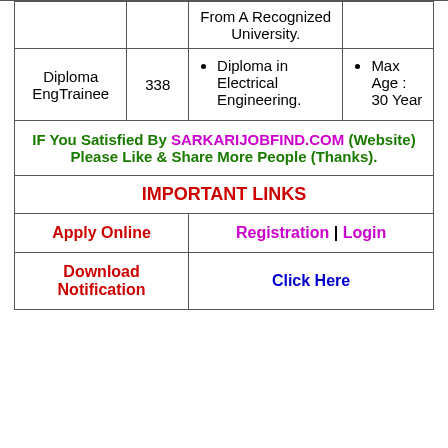| Post | Vacancies | Qualification | Age |
| --- | --- | --- | --- |
|  |  | From A Recognized University. |  |
| Diploma EngTrainee | 338 | Diploma in Electrical Engineering. | Max Age : 30 Year |
IF You Satisfied By SARKARIJOBFIND.COM (Website) Please Like & Share More People (Thanks).
IMPORTANT LINKS
| Apply Online | Registration | Login |
| --- | --- |
| Download Notification | Click Here |